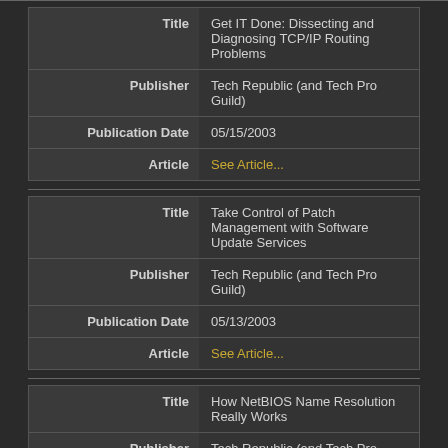| Field | Value |
| --- | --- |
| Title | Get IT Done: Dissecting and Diagnosing TCP/IP Routing Problems |
| Publisher | Tech Republic (and Tech Pro Guild) |
| Publication Date | 05/15/2003 |
| Article | See Article... |
| Field | Value |
| --- | --- |
| Title | Take Control of Patch Management with Software Update Services |
| Publisher | Tech Republic (and Tech Pro Guild) |
| Publication Date | 05/13/2003 |
| Article | See Article... |
| Field | Value |
| --- | --- |
| Title | How NetBIOS Name Resolution Really Works |
| Publisher | Tech Republic (and Tech Pro Guild) |
| Publication Date | 05/11/2003 |